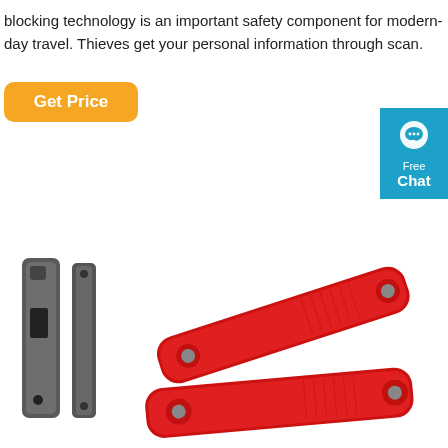blocking technology is an important safety component for modern-day travel. Thieves get your personal information through scan.
[Figure (other): Orange rounded button with white text 'Get Price']
[Figure (other): Blue chat widget in the top-right corner with a speech bubble icon and text 'Free Chat']
[Figure (photo): Product photo showing two dark grey narrow rectangular plastic card holder pieces on the left, and two red flat rectangular RFID blocking card holders / straps on the right against a white background.]